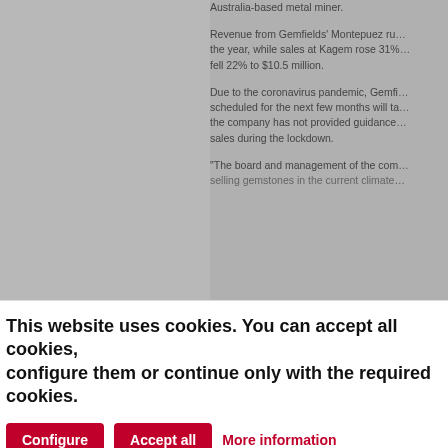Australia-based metal miner.
Revenue from Gemfields' Montepuez ruby mine rose during the year, while sales at Kagem rose 31%... fell 22% to $10.5 million.
Due to the coronavirus pandemic, Gemfields' auctions scheduled for the next few months will take place online; the company has not provided guidance on expected sales during the lockdown.
"The board and management of the company... selling gemstones in the current climate...
This website uses cookies. You can accept all cookies, configure them or continue only with the required cookies.
Configure
Accept all
More information